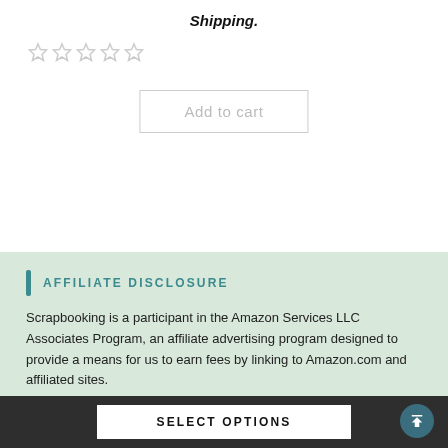Shipping.
[Figure (other): Five empty star rating icons (no fill, gray outline)]
Add to cart
AFFILIATE DISCLOSURE
Scrapbooking is a participant in the Amazon Services LLC Associates Program, an affiliate advertising program designed to provide a means for us to earn fees by linking to Amazon.com and affiliated sites.
SELECT OPTIONS